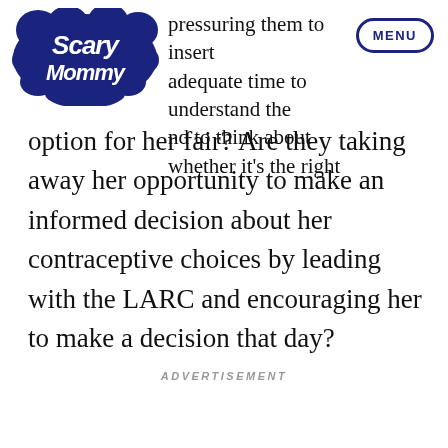Scary Mommy — MENU
pressuring them to insert adequate time to understand the and to think about whether it's the right option for her fair? Are they taking away her opportunity to make an informed decision about her contraceptive choices by leading with the LARC and encouraging her to make a decision that day?
ADVERTISEMENT